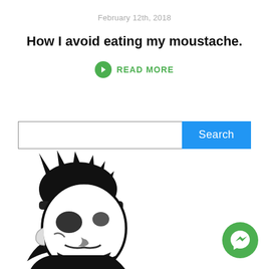February 12th, 2018
How I avoid eating my moustache.
READ MORE
[Figure (screenshot): Search bar with text input and blue Search button]
[Figure (illustration): Black and white illustration of a stylized skull character with spiky hair and a headband, shown from the side with a large beard]
[Figure (logo): Green circular Facebook Messenger chat button in bottom right corner]